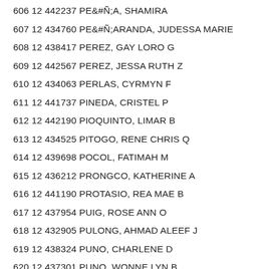606 12 442237 PEÑA, SHAMIRA
607 12 434760 PEÑARANDA, JUDESSA MARIE
608 12 438417 PEREZ, GAY LORO G
609 12 442567 PEREZ, JESSA RUTH Z
610 12 434063 PERLAS, CYRMYN F
611 12 441737 PINEDA, CRISTEL P
612 12 442190 PIOQUINTO, LIMAR B
613 12 434525 PITOGO, RENE CHRIS Q
614 12 439698 POCOL, FATIMAH M
615 12 436212 PRONGCO, KATHERINE A
616 12 441190 PROTASIO, REA MAE B
617 12 437954 PUIG, ROSE ANN O
618 12 432905 PULONG, AHMAD ALEEF J
619 12 438324 PUNO, CHARLENE D
620 12 437301 PUNO, WONNE LYN B